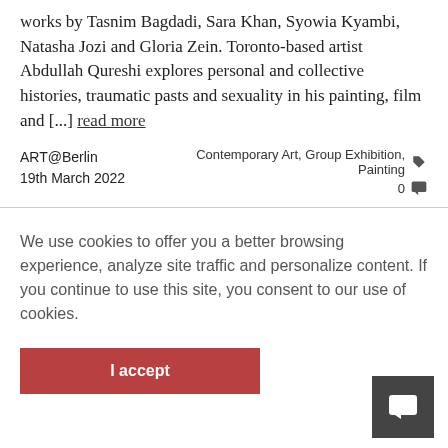works by Tasnim Bagdadi, Sara Khan, Syowia Kyambi, Natasha Jozi and Gloria Zein. Toronto-based artist Abdullah Qureshi explores personal and collective histories, traumatic pasts and sexuality in his painting, film and [...] read more
ART@Berlin
19th March 2022
Contemporary Art, Group Exhibition, Painting
0
We use cookies to offer you a better browsing experience, analyze site traffic and personalize content. If you continue to use this site, you consent to our use of cookies.
I accept